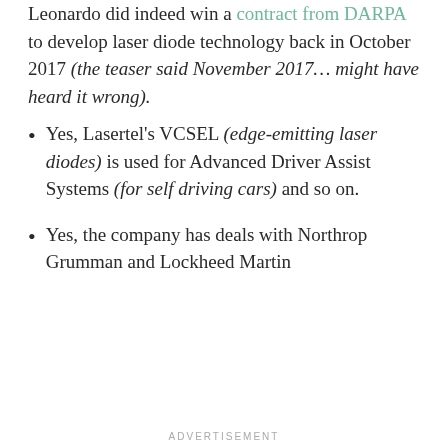Leonardo did indeed win a contract from DARPA to develop laser diode technology back in October 2017 (the teaser said November 2017… might have heard it wrong).
Yes, Lasertel's VCSEL (edge-emitting laser diodes) is used for Advanced Driver Assist Systems (for self driving cars) and so on.
Yes, the company has deals with Northrop Grumman and Lockheed Martin
ADVERTISEMENT